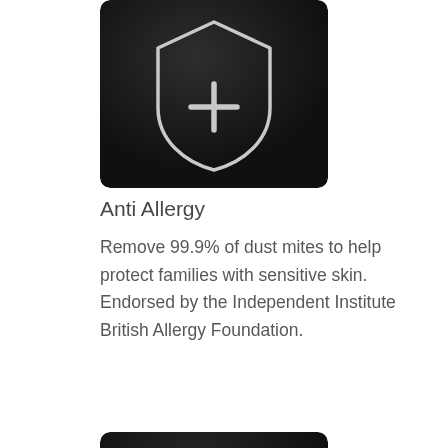[Figure (illustration): Dark rounded square icon with a shield outline and plus sign inside, representing Anti Allergy feature]
Anti Allergy
Remove 99.9% of dust mites to help protect families with sensitive skin. Endorsed by the Independent Institute British Allergy Foundation.
[Figure (illustration): Dark rounded square icon with an expand/resize arrow and nested squares, representing Big Capacity feature]
Big Capacity
Normal size but big capacity. Have all of your laundry dry in one shot thanks to the big drum.
[Figure (illustration): Partial dark rounded square icon at the bottom, partially cut off]